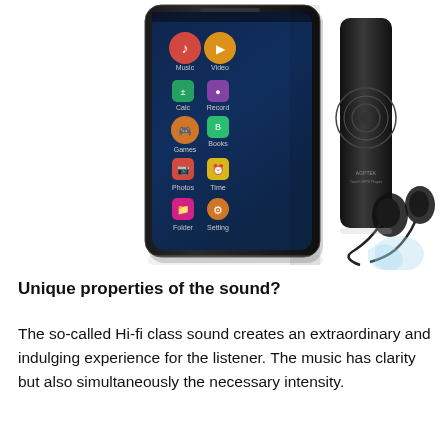[Figure (photo): Product photo showing an MP3/media player device with a large touchscreen displaying colorful app icons (music, video, games, photos, etc.), a black cylindrical Bluetooth speaker, and a pair of black in-ear earphones. The upper right area shows '3.5 Inches SPEAKER' in cyan text with 'IPS' badge and a fingerprint icon.]
Unique properties of the sound?
The so-called Hi-fi class sound creates an extraordinary and indulging experience for the listener. The music has clarity but also simultaneously the necessary intensity.